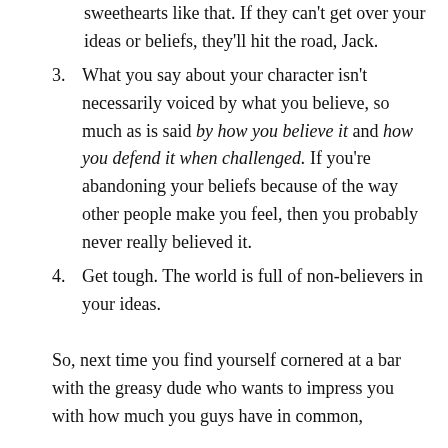sweethearts like that. If they can't get over your ideas or beliefs, they'll hit the road, Jack.
3. What you say about your character isn't necessarily voiced by what you believe, so much as is said by how you believe it and how you defend it when challenged. If you're abandoning your beliefs because of the way other people make you feel, then you probably never really believed it.
4. Get tough. The world is full of non-believers in your ideas.
So, next time you find yourself cornered at a bar with the greasy dude who wants to impress you with how much you guys have in common,